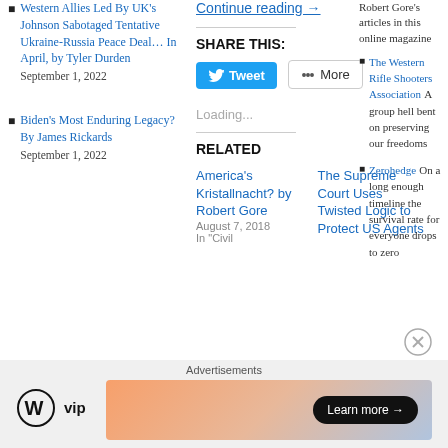Western Allies Led By UK's Johnson Sabotaged Tentative Ukraine-Russia Peace Deal… In April, by Tyler Durden September 1, 2022
Biden's Most Enduring Legacy? By James Rickards September 1, 2022
Continue reading →
SHARE THIS:
Loading...
RELATED
America's Kristallnacht? by Robert Gore August 7, 2018 In "Civil
The Supreme Court Uses Twisted Logic to Protect US Agents
Robert Gore's articles in this online magazine
The Western Rifle Shooters Association A group hell bent on preserving our freedoms
Zerohedge On a long enough timeline the survival rate for everyone drops to zero
Advertisements